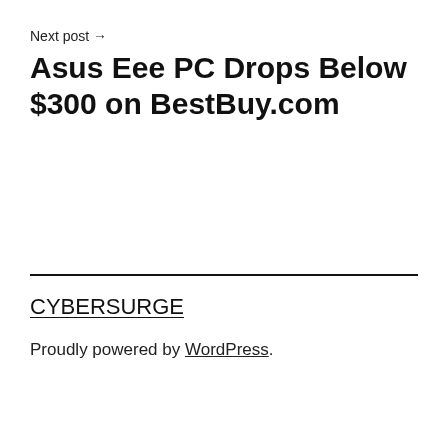Next post →
Asus Eee PC Drops Below $300 on BestBuy.com
CYBERSURGE
Proudly powered by WordPress.